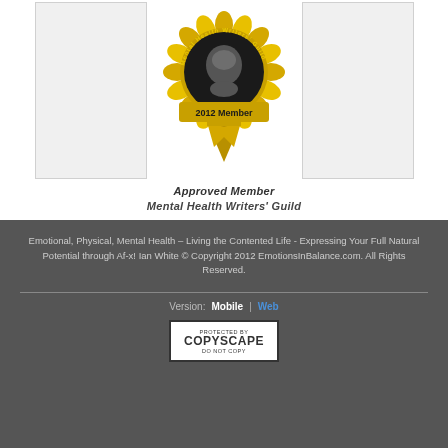[Figure (logo): Mental Health Writers' Guild 2012 Member badge - gold medallion with ribbon]
Approved Member
Mental Health Writers' Guild
Emotional, Physical, Mental Health – Living the Contented Life - Expressing Your Full Natural Potential through Af-x! Ian White © Copyright 2012 EmotionsInBalance.com. All Rights Reserved.
Version: Mobile | Web
[Figure (logo): Protected by Copyscape - Do Not Copy badge]